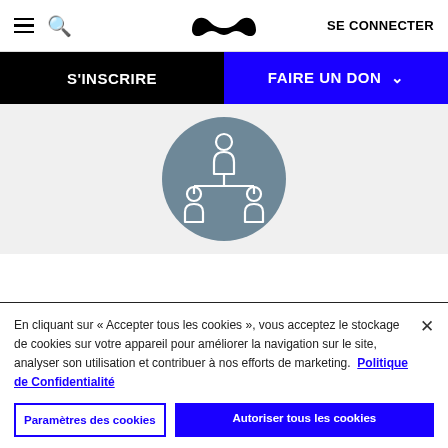≡ 🔍 [mustache logo] SE CONNECTER
S'INSCRIRE
FAIRE UN DON ∨
[Figure (illustration): Grey circle with white outline icons of a group of people connected in a network/organizational structure (one person on top, two below connected by lines).]
En cliquant sur « Accepter tous les cookies », vous acceptez le stockage de cookies sur votre appareil pour améliorer la navigation sur le site, analyser son utilisation et contribuer à nos efforts de marketing. Politique de Confidentialité
Paramètres des cookies
Autoriser tous les cookies